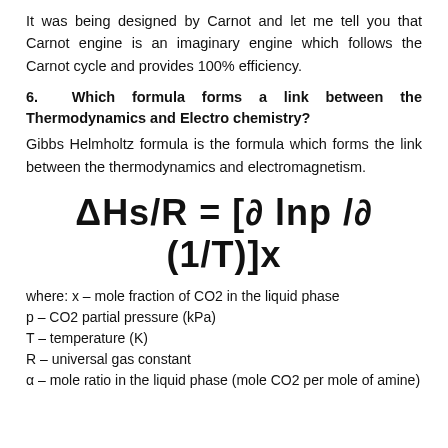It was being designed by Carnot and let me tell you that Carnot engine is an imaginary engine which follows the Carnot cycle and provides 100% efficiency.
6. Which formula forms a link between the Thermodynamics and Electro chemistry?
Gibbs Helmholtz formula is the formula which forms the link between the thermodynamics and electromagnetism.
where: x – mole fraction of CO2 in the liquid phase
p – CO2 partial pressure (kPa)
T – temperature (K)
R – universal gas constant
α – mole ratio in the liquid phase (mole CO2 per mole of amine)